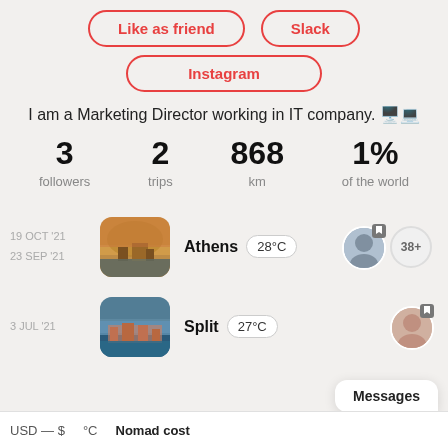Like as friend
Slack
Instagram
I am a Marketing Director working in IT company. 🖥️💻
| 3 followers | 2 trips | 868 km | 1% of the world |
| --- | --- | --- | --- |
19 OCT '21 / 23 SEP '21 — Athens 28°C
3 JUL '21 — Split 27°C
USD — $ °C Nomad cost
Messages